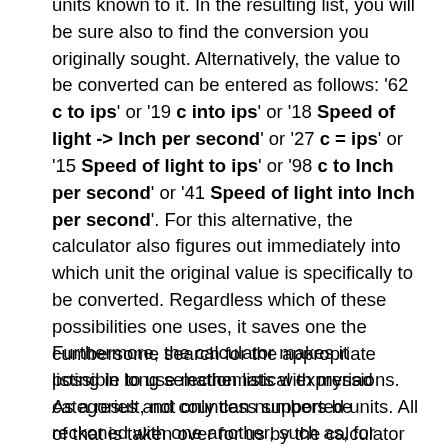units known to it. In the resulting list, you will be sure also to find the conversion you originally sought. Alternatively, the value to be converted can be entered as follows: '62 c to ips' or '19 c into ips' or '18 Speed of light -> Inch per second' or '27 c = ips' or '15 Speed of light to ips' or '98 c to Inch per second' or '41 Speed of light into Inch per second'. For this alternative, the calculator also figures out immediately into which unit the original value is specifically to be converted. Regardless which of these possibilities one uses, it saves one the cumbersome search for the appropriate listing in long selection lists with myriad categories and countless supported units. All of that is taken over for us by the calculator and it gets the job done in a fraction of a second.
Furthermore, the calculator makes it possible to use mathematical expressions. As a result, not only can numbers be reckoned with one another, such as, for example, '(88 * 99) c'. But different units of measurement can also be coupled with one another directly in the